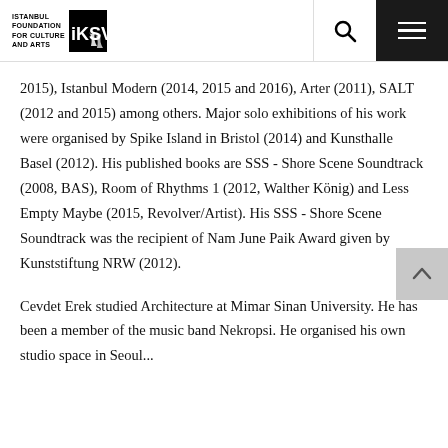Istanbul Foundation for Culture and Arts – iKSV
2015), Istanbul Modern (2014, 2015 and 2016), Arter (2011), SALT (2012 and 2015) among others. Major solo exhibitions of his work were organised by Spike Island in Bristol (2014) and Kunsthalle Basel (2012). His published books are SSS - Shore Scene Soundtrack (2008, BAS), Room of Rhythms 1 (2012, Walther König) and Less Empty Maybe (2015, Revolver/Artist). His SSS - Shore Scene Soundtrack was the recipient of Nam June Paik Award given by Kunststiftung NRW (2012).
Cevdet Erek studied Architecture at Mimar Sinan University. He has been a member of the music band Nekropsi. He organised his own studio space in Seoul...